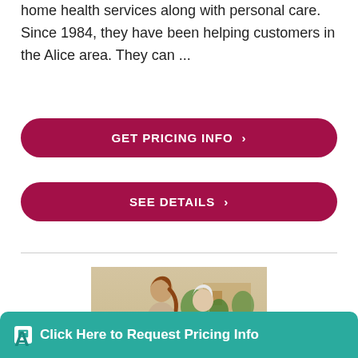home health services along with personal care. Since 1984, they have been helping customers in the Alice area. They can ...
GET PRICING INFO ›
SEE DETAILS ›
[Figure (photo): Two people viewed from behind, a younger woman with auburn hair in a ponytail and an older person with white hair, walking together arm in arm in an outdoor garden setting]
Click Here to Request Pricing Info